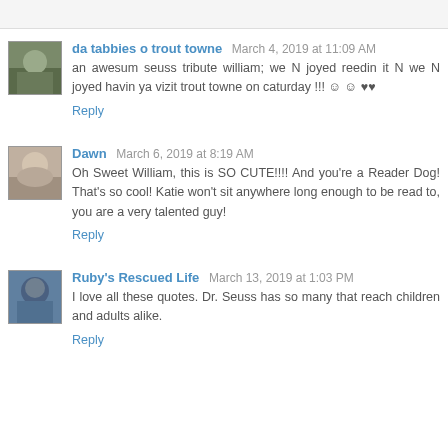da tabbies o trout towne March 4, 2019 at 11:09 AM
an awesum seuss tribute william; we N joyed reedin it N we N joyed havin ya vizit trout towne on caturday !!! ☺ ☺ ♥♥
Reply
Dawn March 6, 2019 at 8:19 AM
Oh Sweet William, this is SO CUTE!!!! And you're a Reader Dog! That's so cool! Katie won't sit anywhere long enough to be read to, you are a very talented guy!
Reply
Ruby's Rescued Life March 13, 2019 at 1:03 PM
I love all these quotes. Dr. Seuss has so many that reach children and adults alike.
Reply